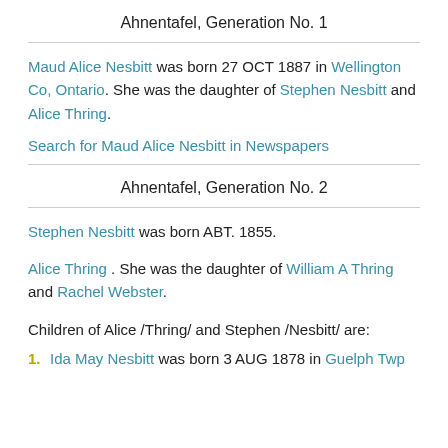Ahnentafel, Generation No. 1
Maud Alice Nesbitt was born 27 OCT 1887 in Wellington Co, Ontario. She was the daughter of Stephen Nesbitt and Alice Thring.
Search for Maud Alice Nesbitt in Newspapers
Ahnentafel, Generation No. 2
Stephen Nesbitt was born ABT. 1855.
Alice Thring . She was the daughter of William A Thring and Rachel Webster.
Children of Alice /Thring/ and Stephen /Nesbitt/ are:
Ida May Nesbitt was born 3 AUG 1878 in Guelph Twp